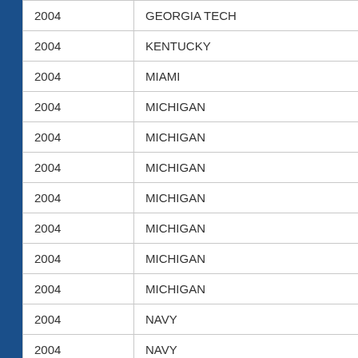| Year | School |
| --- | --- |
| 2004 | GEORGIA TECH |
| 2004 | KENTUCKY |
| 2004 | MIAMI |
| 2004 | MICHIGAN |
| 2004 | MICHIGAN |
| 2004 | MICHIGAN |
| 2004 | MICHIGAN |
| 2004 | MICHIGAN |
| 2004 | MICHIGAN |
| 2004 | MICHIGAN |
| 2004 | NAVY |
| 2004 | NAVY |
| 2004 | NEBRASKA |
| 2004 | NEBRASKA |
| 2004 | NOTRE DAME |
| 2004 | NOTRE DAME |
| 2004 | OHIO STATE |